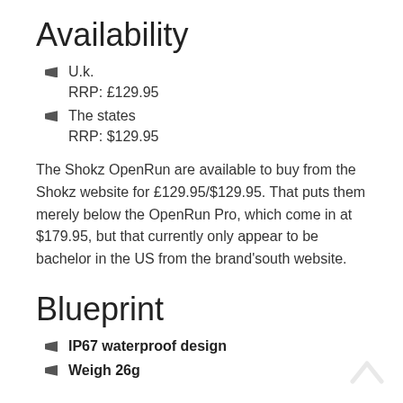Availability
U.k.
RRP: £129.95
The states
RRP: $129.95
The Shokz OpenRun are available to buy from the Shokz website for £129.95/$129.95. That puts them merely below the OpenRun Pro, which come in at $179.95, but that currently only appear to be bachelor in the US from the brand'south website.
Blueprint
IP67 waterproof design
Weigh 26g